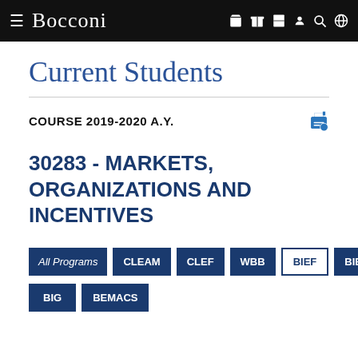Bocconi — navigation bar with hamburger menu, logo, and icons
Current Students
COURSE 2019-2020 A.Y.
30283 - MARKETS, ORGANIZATIONS AND INCENTIVES
All Programs
CLEAM
CLEF
WBB
BIEF
BIEM
BIG
BEMACS